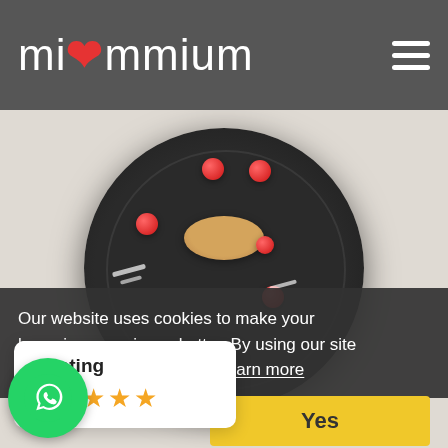miummium
[Figure (photo): Top-down view of a gourmet pancake dessert on a dark round plate with red berry decorations, blueberries, and white powder, placed on a white brick wall background]
Our website uses cookies to make your browsing experience better. By using our site you are agreeing to the use of cookies.  Learn more
Yes
[Figure (logo): WhatsApp icon in green circle]
Rating
[Figure (infographic): Five gold stars rating display]